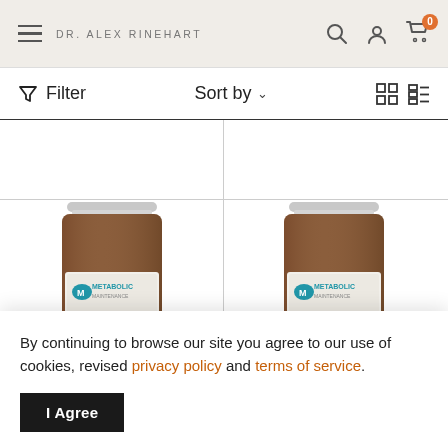DR. ALEX RINEHART
Filter | Sort by | Grid/List view icons
[Figure (photo): Two amber glass supplement bottles with white caps labeled Metabolic Maintenance, arranged in a two-column product grid layout]
MAINTENANCE  MAINTENANCE
By continuing to browse our site you agree to our use of cookies, revised privacy policy and terms of service.
I Agree